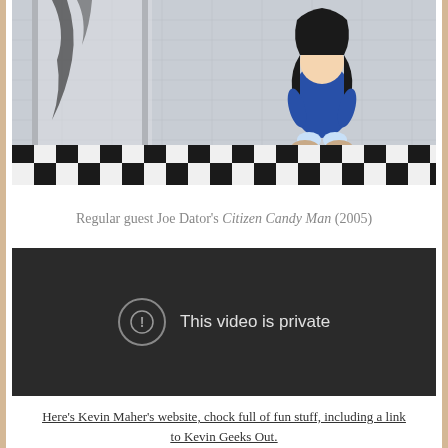[Figure (photo): Photo of a doll figure in a blue robe with dark hair, sitting against a white tile wall with a black and white checkerboard floor. Dark stains visible on wall/door behind.]
Regular guest Joe Dator's Citizen Candy Man (2005)
[Figure (screenshot): Embedded video player showing 'This video is private' message with exclamation mark icon on dark background.]
Here's Kevin Maher's website, chock full of fun stuff, including a link to Kevin Geeks Out.